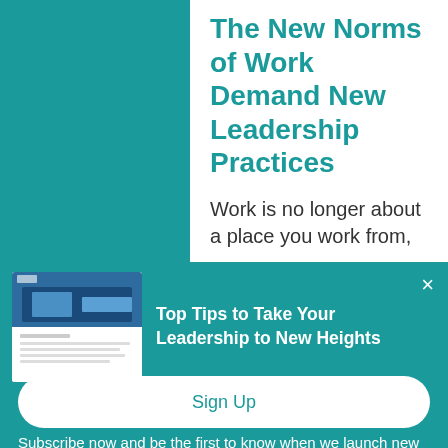The New Norms of Work Demand New Leadership Practices
Work is no longer about a place you work from,
Top Tips to Take Your Leadership to New Heights
Subscribe now and be the first to know when we launch new leadership resources.
Sign Up